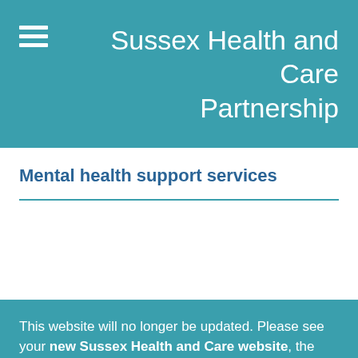Sussex Health and Care Partnership
Mental health support services
This website will no longer be updated. Please see your new Sussex Health and Care website, the gateway to all the information you need about health and care in Sussex.
This website will no longer be updated. Please see your new Sussex Health and Care website, the gateway to all the information you need about health and care in Sussex.